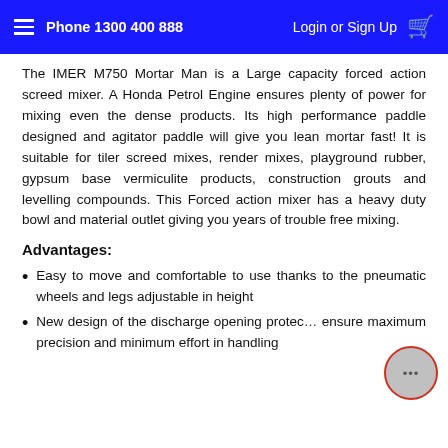Phone 1300 400 888  Login or Sign Up
The IMER M750 Mortar Man is a Large capacity forced action screed mixer. A Honda Petrol Engine ensures plenty of power for mixing even the dense products. Its high performance paddle designed and agitator paddle will give you lean mortar fast! It is suitable for tiler screed mixes, render mixes, playground rubber, gypsum base vermiculite products, construction grouts and levelling compounds. This Forced action mixer has a heavy duty bowl and material outlet giving you years of trouble free mixing.
Advantages:
Easy to move and comfortable to use thanks to the pneumatic wheels and legs adjustable in height
New design of the discharge opening protec... ensure maximum precision and minimum effort in handling